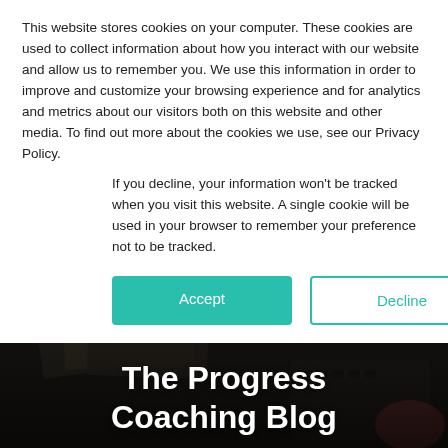This website stores cookies on your computer. These cookies are used to collect information about how you interact with our website and allow us to remember you. We use this information in order to improve and customize your browsing experience and for analytics and metrics about our visitors both on this website and other media. To find out more about the cookies we use, see our Privacy Policy.
If you decline, your information won't be tracked when you visit this website. A single cookie will be used in your browser to remember your preference not to be tracked.
[Figure (screenshot): Cookie consent buttons: green 'Accept' button and outlined 'Decline' button]
[Figure (photo): Dark background hero image of a desk with papers and a keyboard, overlaid with white text 'The Progress Coaching Blog']
The Progress Coaching Blog